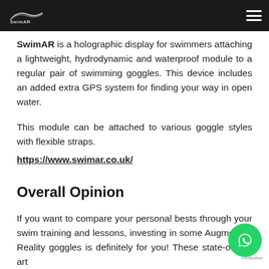SwimAR – holographic display for swimmers
SwimAR is a holographic display for swimmers attaching a lightweight, hydrodynamic and waterproof module to a regular pair of swimming goggles. This device includes an added extra GPS system for finding your way in open water.
This module can be attached to various goggle styles with flexible straps.
https://www.swimar.co.uk/
Overall Opinion
If you want to compare your personal bests through your swim training and lessons, investing in some Augmented Reality goggles is definitely for you! These state-of-the-art